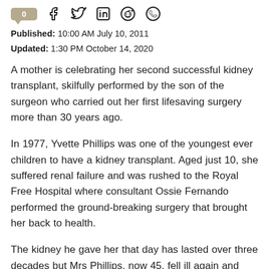[Figure (other): Social sharing bar with comment bubble showing 0, and icons for Facebook, Twitter, LinkedIn, Reddit, and WhatsApp]
Published: 10:00 AM July 10, 2011
Updated: 1:30 PM October 14, 2020
A mother is celebrating her second successful kidney transplant, skilfully performed by the son of the surgeon who carried out her first lifesaving surgery more than 30 years ago.
In 1977, Yvette Phillips was one of the youngest ever children to have a kidney transplant. Aged just 10, she suffered renal failure and was rushed to the Royal Free Hospital where consultant Ossie Fernando performed the ground-breaking surgery that brought her back to health.
The kidney he gave her that day has lasted over three decades but Mrs Phillips, now 45, fell ill again and